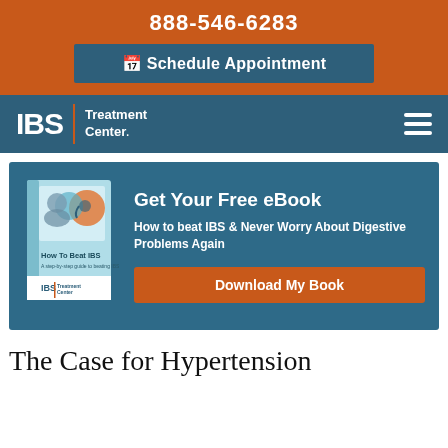888-546-6283
Schedule Appointment
[Figure (logo): IBS Treatment Center logo with orange divider bar and white text on teal/dark blue background, hamburger menu icon on right]
[Figure (infographic): Get Your Free eBook banner with book cover image on left and text 'Get Your Free eBook - How to beat IBS & Never Worry About Digestive Problems Again' and Download My Book button]
The Case for Hypertension